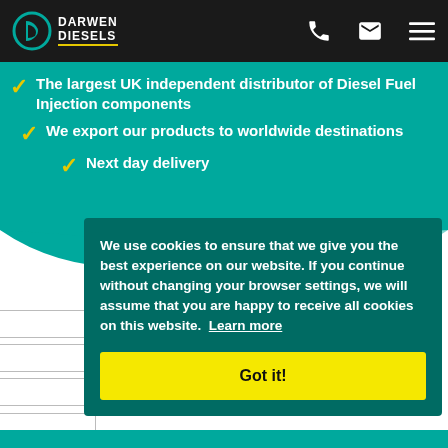Darwen Diesels
The largest UK independent distributor of Diesel Fuel Injection components
We export our products to worldwide destinations
Next day delivery
We use cookies to ensure that we give you the best experience on our website. If you continue without changing your browser settings, we will assume that you are happy to receive all cookies on this website. Learn more
Got it!